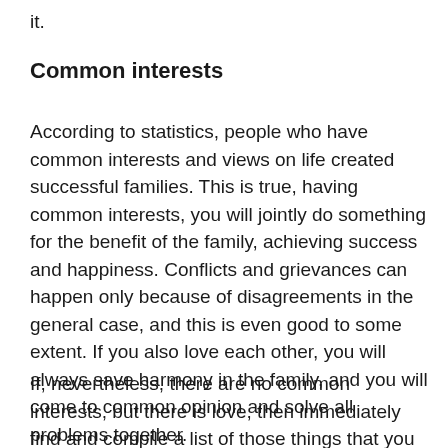it.
Common interests
According to statistics, people who have common interests and views on life created successful families. This is true, having common interests, you will jointly do something for the benefit of the family, achieving success and happiness. Conflicts and grievances can happen only because of disagreements in the general case, and this is even good to some extent. If you also love each other, you will always save harmony in the family, and you will come to common opinion and solve all problems together.
If, nevertheless, there are no common interests, but there is love, then immediately find and compile a list of those things that you both like. If you don't